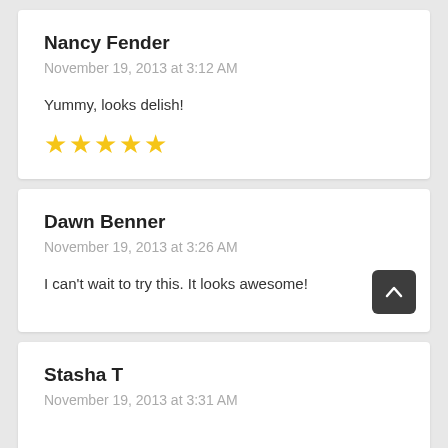Nancy Fender
November 19, 2013 at 3:12 AM

Yummy, looks delish!

★★★★★
Dawn Benner
November 19, 2013 at 3:26 AM

I can't wait to try this. It looks awesome!
Stasha T
November 19, 2013 at 3:31 AM